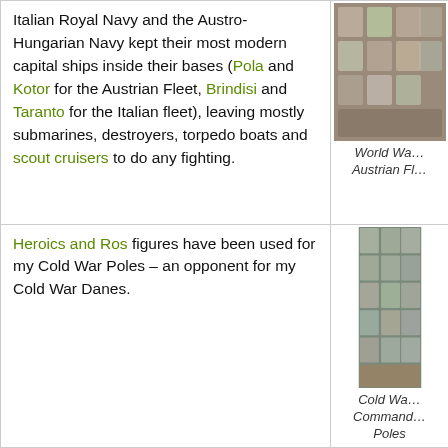Italian Royal Navy and the Austro-Hungarian Navy kept their most modern capital ships inside their bases (Pola and Kotor for the Austrian Fleet, Brindisi and Taranto for the Italian fleet), leaving mostly submarines, destroyers, torpedo boats and scout cruisers to do any fighting.
[Figure (photo): Photo of World War I Austrian Fleet miniatures/cards in plastic bags on a dark surface]
World Wa... Austrian Fl...
Heroics and Ros figures have been used for my Cold War Poles – an opponent for my Cold War Danes.
[Figure (photo): Photo of Cold War Poles Command Poles miniatures in plastic bags arranged in a grid on a surface]
Cold Wa... Command... Poles